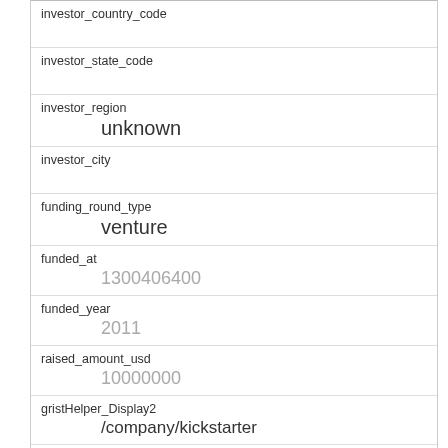investor_country_code
investor_state_code
investor_region
unknown
investor_city
funding_round_type
venture
funded_at
1300406400
funded_year
2011
raised_amount_usd
10000000
gristHelper_Display2
/company/kickstarter
Company_category_code
finance